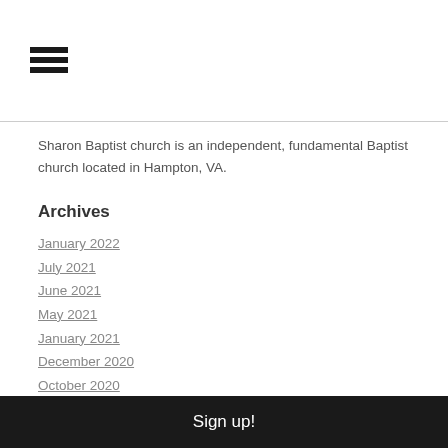[Figure (other): Hamburger menu icon (three horizontal bars)]
Sharon Baptist church is an independent, fundamental Baptist church located in Hampton, VA.
Archives
January 2022
July 2021
June 2021
May 2021
January 2021
December 2020
October 2020
June 2020
May 2020
April 2020
Sign up!